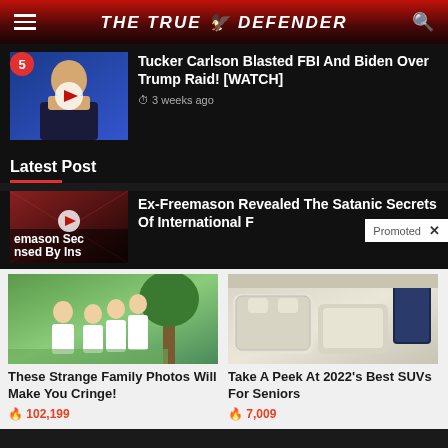THE TRUE DEFENDER
Tucker Carlson Blasted FBI And Biden Over Trump Raid! [WATCH]
3 weeks ago
Latest Post
Ex-Freemason Revealed The Satanic Secrets Of International F
Promoted
[Figure (photo): Family photo with adults and children in white shirts outdoors]
These Strange Family Photos Will Make You Cringe!
102,199
[Figure (photo): Interior of a luxury SUV showing white leather seats and screens]
Take A Peek At 2022's Best SUVs For Seniors
7,009